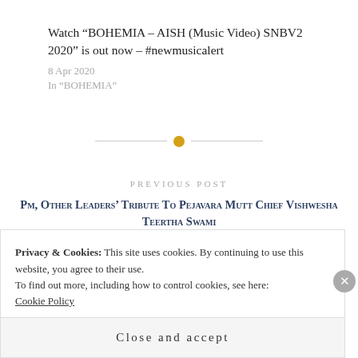Watch “BOHEMIA – AISH (Music Video) SNBV2 2020” is out now – #newmusicalert
8 Apr 2020
In "BOHEMIA"
PREVIOUS POST
Pm, Other Leaders’ Tribute To Pejavara Mutt Chief Vishwesha Teertha Swami
Privacy & Cookies: This site uses cookies. By continuing to use this website, you agree to their use.
To find out more, including how to control cookies, see here:
Cookie Policy
Close and accept